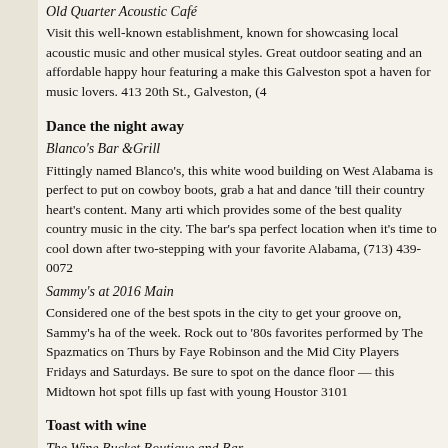Old Quarter Acoustic Café
Visit this well-known establishment, known for showcasing local acoustic music and other musical styles. Great outdoor seating and an affordable happy hour featuring a make this Galveston spot a haven for music lovers. 413 20th St., Galveston, (4
Dance the night away
Blanco's Bar &Grill
Fittingly named Blanco's, this white wood building on West Alabama is perfect to put on cowboy boots, grab a hat and dance 'till their country heart's content. Many artists which provides some of the best quality country music in the city. The bar's spa perfect location when it's time to cool down after two-stepping with your favorite Alabama, (713) 439-0072
Sammy's at 2016 Main
Considered one of the best spots in the city to get your groove on, Sammy's ha of the week. Rock out to '80s favorites performed by The Spazmatics on Thurs by Faye Robinson and the Mid City Players Fridays and Saturdays. Be sure to spot on the dance floor — this Midtown hot spot fills up fast with young Houstor 3101
Toast with wine
The Wine Bucket Boutique and Bar
The Wine Bucket features more than 50 wines by the bottle and 30 wines by th back atmosphere fit for decompressing from daily stress. Taste a wine flight or and inviting, this spot provides guests with the opportunity to enjoy their compa Alabama St., (713) 942-9463